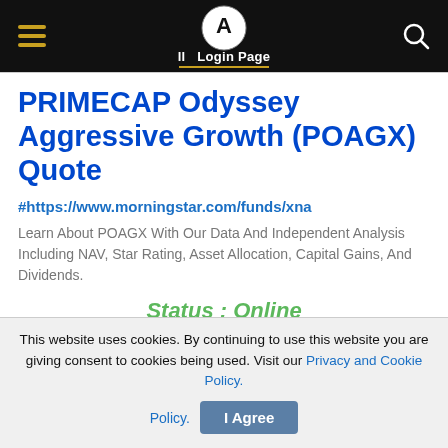All Login Page
PRIMECAP Odyssey Aggressive Growth (POAGX) Quote
#https://www.morningstar.com/funds/xna
Learn About POAGX With Our Data And Independent Analysis Including NAV, Star Rating, Asset Allocation, Capital Gains, And Dividends.
Status : Online
This website uses cookies. By continuing to use this website you are giving consent to cookies being used. Visit our Privacy and Cookie Policy.